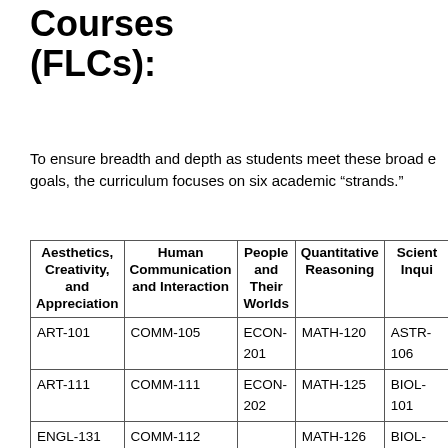Courses (FLCs):
To ensure breadth and depth as students meet these broad e goals, the curriculum focuses on six academic “strands.”
| Aesthetics, Creativity, and Appreciation | Human Communication and Interaction | People and Their Worlds | Quantitative Reasoning | Scient Inqui |
| --- | --- | --- | --- | --- |
| ART-101 | COMM-105 | ECON-201 | MATH-120 | ASTR-106 |
| ART-111 | COMM-111 | ECON-202 | MATH-125 | BIOL-101 |
| ENGL-131 | COMM-112 |  | MATH-126 | BIOL-102 |
| ENGL-132 | COMM-202 | GEOG-102 | MATH-211 |  |